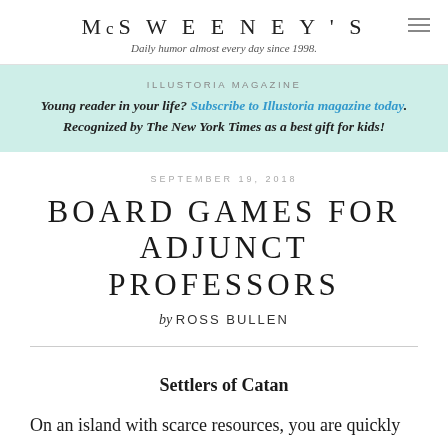McSWEENEY'S
Daily humor almost every day since 1998.
ILLUSTORIA MAGAZINE
Young reader in your life? Subscribe to Illustoria magazine today. Recognized by The New York Times as a best gift for kids!
SEPTEMBER 19, 2018
BOARD GAMES FOR ADJUNCT PROFESSORS
by ROSS BULLEN
Settlers of Catan
On an island with scarce resources, you are quickly